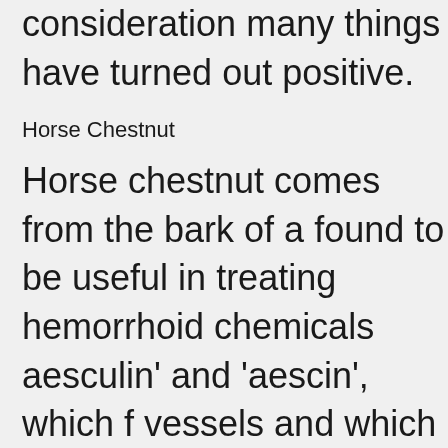consideration many things have turned out positive.
Horse Chestnut
Horse chestnut comes from the bark of a found to be useful in treating hemorrhoid chemicals aesculin' and 'aescin', which f vessels and which help to reduce hemor to reduce inflamed areas.
Doctors have recommended that pregna constantly lay on their backs for long per said that if you lie on your left side for 20 because that it will reduce the swi...